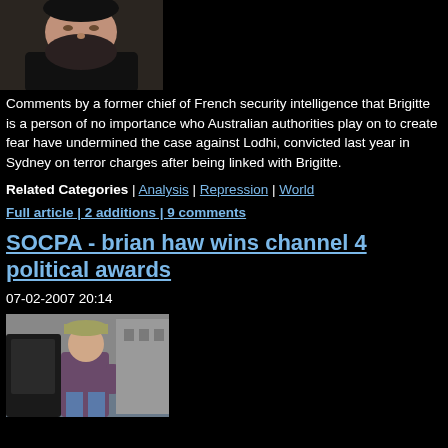[Figure (photo): Photo of a bearded man, upper body, dark clothing, black background]
Comments by a former chief of French security intelligence that Brigitte is a person of no importance who Australian authorities play on to create fear have undermined the case against Lodhi, convicted last year in Sydney on terror charges after being linked with Brigitte.
Related Categories | Analysis | Repression | World
Full article | 2 additions | 9 comments
SOCPA - brian haw wins channel 4 political awards
07-02-2007 20:14
[Figure (photo): Photo of a person standing near a car door, wearing a patterned hat and casual clothes]